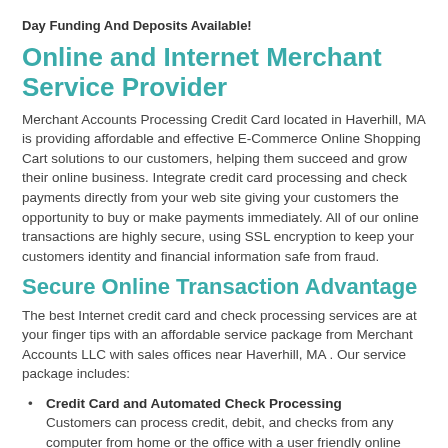Day Funding And Deposits Available!
Online and Internet Merchant Service Provider
Merchant Accounts Processing Credit Card located in Haverhill, MA is providing affordable and effective E-Commerce Online Shopping Cart solutions to our customers, helping them succeed and grow their online business. Integrate credit card processing and check payments directly from your web site giving your customers the opportunity to buy or make payments immediately. All of our online transactions are highly secure, using SSL encryption to keep your customers identity and financial information safe from fraud.
Secure Online Transaction Advantage
The best Internet credit card and check processing services are at your finger tips with an affordable service package from Merchant Accounts LLC with sales offices near Haverhill, MA . Our service package includes:
Credit Card and Automated Check Processing
Customers can process credit, debit, and checks from any computer from home or the office with a user friendly online format that is user name and password protected.